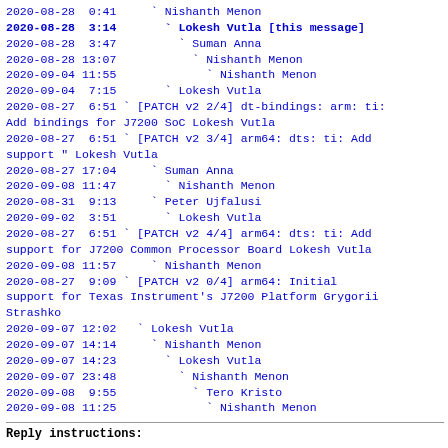2020-08-28  0:41     ` Nishanth Menon
2020-08-28  3:14       ` Lokesh Vutla [this message]
2020-08-28  3:47         ` Suman Anna
2020-08-28 13:07           ` Nishanth Menon
2020-09-04 11:55             ` Nishanth Menon
2020-09-04  7:15       ` Lokesh Vutla
2020-08-27  6:51 ` [PATCH v2 2/4] dt-bindings: arm: ti: Add bindings for J7200 SoC Lokesh Vutla
2020-08-27  6:51 ` [PATCH v2 3/4] arm64: dts: ti: Add support " Lokesh Vutla
2020-08-27 17:04     ` Suman Anna
2020-09-08 11:47       ` Nishanth Menon
2020-08-31  9:13     ` Peter Ujfalusi
2020-09-02  3:51       ` Lokesh Vutla
2020-08-27  6:51 ` [PATCH v2 4/4] arm64: dts: ti: Add support for J7200 Common Processor Board Lokesh Vutla
2020-09-08 11:57     ` Nishanth Menon
2020-08-27  9:09 ` [PATCH v2 0/4] arm64: Initial support for Texas Instrument's J7200 Platform Grygorii Strashko
2020-09-07 12:02   ` Lokesh Vutla
2020-09-07 14:14     ` Nishanth Menon
2020-09-07 14:23       ` Lokesh Vutla
2020-09-07 23:48         ` Nishanth Menon
2020-09-08  9:55           ` Tero Kristo
2020-09-08 11:25             ` Nishanth Menon
Reply instructions: